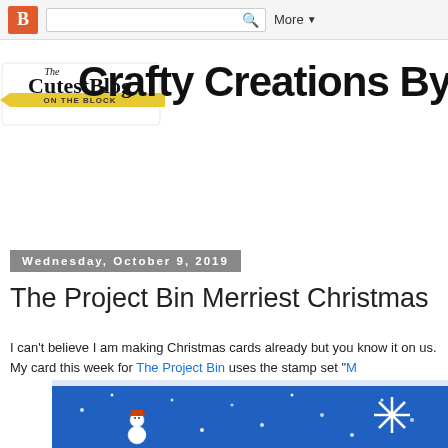B [search] More ▼
[Figure (logo): The Cutest Blog On The Block logo — decorative text logo with yellow ribbon banner]
Crafty Creations By Tra
Wednesday, October 9, 2019
The Project Bin Merriest Christmas
I can't believe I am making Christmas cards already but you know it on us.  My card this week for The Project Bin uses the stamp set "M
[Figure (photo): Christmas card showing a snowman on a blue background with white snowflakes and a decorative paper snowflake embellishment]